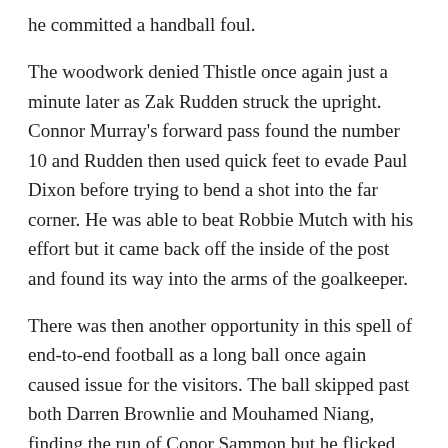he committed a handball foul.
The woodwork denied Thistle once again just a minute later as Zak Rudden struck the upright. Connor Murray's forward pass found the number 10 and Rudden then used quick feet to evade Paul Dixon before trying to bend a shot into the far corner. He was able to beat Robbie Mutch with his effort but it came back off the inside of the post and found its way into the arms of the goalkeeper.
There was then another opportunity in this spell of end-to-end football as a long ball once again caused issue for the visitors. The ball skipped past both Darren Brownlie and Mouhamed Niang, finding the run of Conor Sammon but he flicked the ball straight to the waiting Kieran Wright.
Early in the second half, The Firhill side had another sight of goal. Zak Rudden held the ball up and laid it off the Connor Murray who in turn fed James Penrice who had made a good run down the left. The number three had an